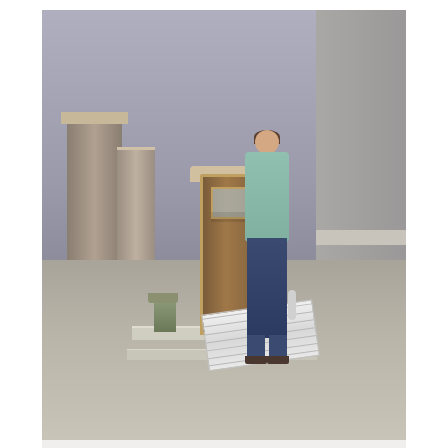[Figure (photo): A woman carrying a folded suitcase ramp by its handle at the front of a house with stone pillars, a wooden front door, and a concrete porch]
Suitcase ramps have a handle for easy transport